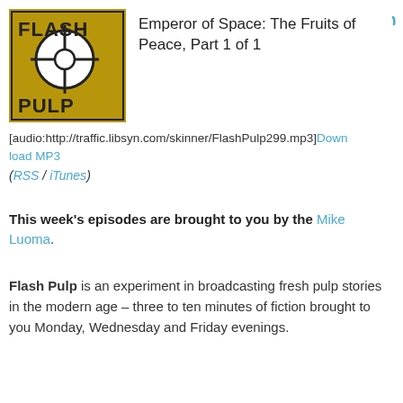[Figure (logo): Flash Pulp logo: gold/olive square with crosshair/target symbol and bold text FLASH PULP]
Emperor of Space: The Fruits of Peace, Part 1 of 1
[audio:http://traffic.libsyn.com/skinner/FlashPulp299.mp3]Download MP3
(RSS / iTunes)
This week's episodes are brought to you by the Mike Luoma.
Flash Pulp is an experiment in broadcasting fresh pulp stories in the modern age – three to ten minutes of fiction brought to you Monday, Wednesday and Friday evenings.